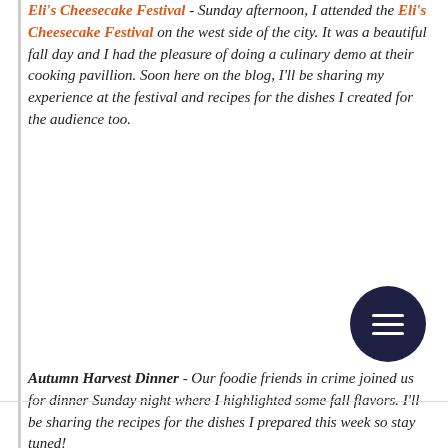Eli's Cheesecake Festival - Sunday afternoon, I attended the Eli's Cheesecake Festival on the west side of the city. It was a beautiful fall day and I had the pleasure of doing a culinary demo at their cooking pavillion. Soon here on the blog, I'll be sharing my experience at the festival and recipes for the dishes I created for the audience too.
Autumn Harvest Dinner - Our foodie friends in crime joined us for dinner Sunday night where I highlighted some fall flavors. I'll be sharing the recipes for the dishes I prepared this week so stay tuned!
[Figure (other): Dark navy circular menu button icon with three horizontal white lines (hamburger menu icon)]